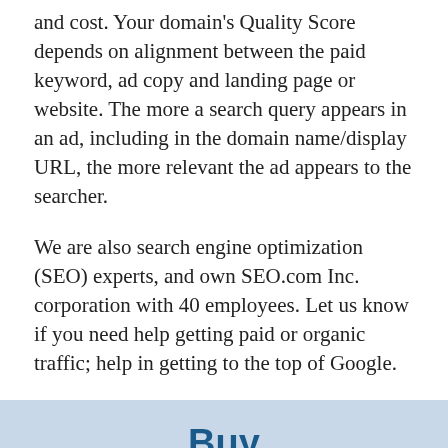and cost. Your domain's Quality Score depends on alignment between the paid keyword, ad copy and landing page or website. The more a search query appears in an ad, including in the domain name/display URL, the more relevant the ad appears to the searcher.
We are also search engine optimization (SEO) experts, and own SEO.com Inc. corporation with 40 employees. Let us know if you need help getting paid or organic traffic; help in getting to the top of Google.
Buy TheDowntownCafe.com now!